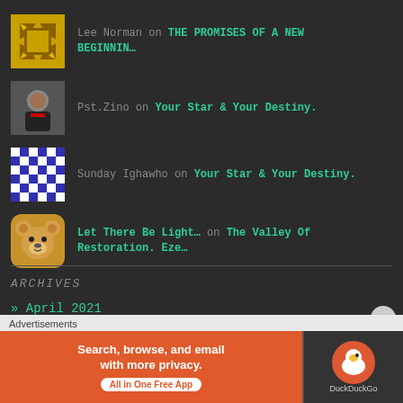Lee Norman on THE PROMISES OF A NEW BEGINNIN…
Pst.Zino on Your Star & Your Destiny.
Sunday Ighawho on Your Star & Your Destiny.
Let There Be Light… on The Valley Of Restoration. Eze…
ARCHIVES
» April 2021
[Figure (other): DuckDuckGo advertisement banner: Search, browse, and email with more privacy. All in One Free App. DuckDuckGo logo on right.]
Advertisements